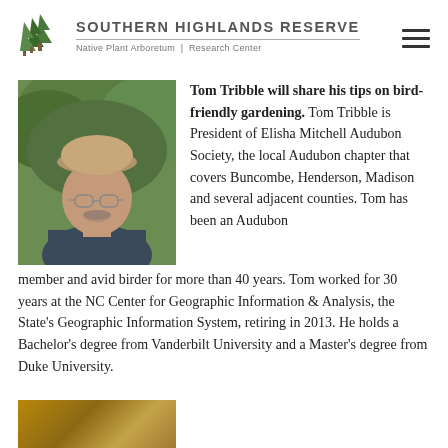Southern Highlands Reserve | Native Plant Arboretum | Research Center
[Figure (photo): Headshot photo of Tom Tribble, an older man wearing a tan baseball cap and glasses, smiling outdoors in front of green foliage]
Tom Tribble will share his tips on bird-friendly gardening. Tom Tribble is President of Elisha Mitchell Audubon Society, the local Audubon chapter that covers Buncombe, Henderson, Madison and several adjacent counties. Tom has been an Audubon member and avid birder for more than 40 years. Tom worked for 30 years at the NC Center for Geographic Information & Analysis, the State's Geographic Information System, retiring in 2013. He holds a Bachelor's degree from Vanderbilt University and a Master's degree from Duke University.
[Figure (photo): Partial photo at the bottom of the page, appears to show a warm-colored outdoor scene (cut off)]